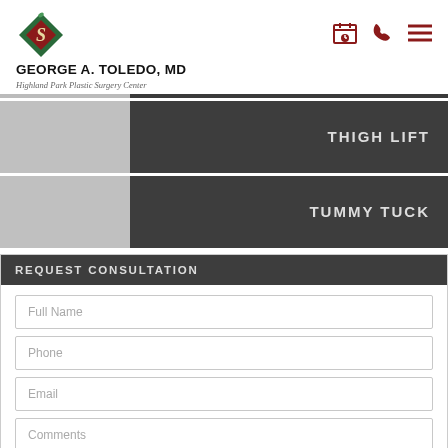[Figure (logo): George A. Toledo MD - Highland Park Plastic Surgery Center logo with diamond-shaped rose emblem]
GEORGE A. TOLEDO, MD
Highland Park Plastic Surgery Center
THIGH LIFT
TUMMY TUCK
REQUEST CONSULTATION
Full Name
Phone
Email
Comments